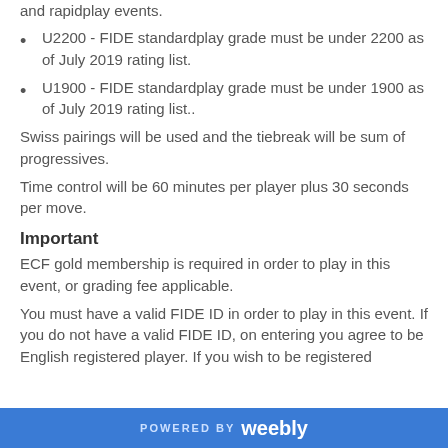and rapidplay events.
U2200 - FIDE standardplay grade must be under 2200 as of July 2019 rating list.
U1900 - FIDE standardplay grade must be under 1900 as of July 2019 rating list..
Swiss pairings will be used and the tiebreak will be sum of progressives.
Time control will be 60 minutes per player plus 30 seconds per move.
Important
ECF gold membership is required in order to play in this event, or grading fee applicable.
You must have a valid FIDE ID in order to play in this event. If you do not have a valid FIDE ID, on entering you agree to be English registered player. If you wish to be registered
POWERED BY weebly